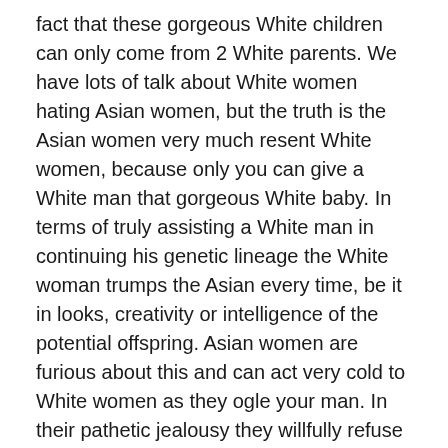fact that these gorgeous White children can only come from 2 White parents. We have lots of talk about White women hating Asian women, but the truth is the Asian women very much resent White women, because only you can give a White man that gorgeous White baby. In terms of truly assisting a White man in continuing his genetic lineage the White woman trumps the Asian every time, be it in looks, creativity or intelligence of the potential offspring. Asian women are furious about this and can act very cold to White women as they ogle your man. In their pathetic jealousy they willfully refuse to understand that Asian women give white men Asian babies, that white men don't give Asian women white babies. When I was a translator I used to see far too many lost white boys in Asia who had knocked up an Asian, often by accident. They had gotten caught up in some Asian girl's "I'm having a white baby" fantasy, which is